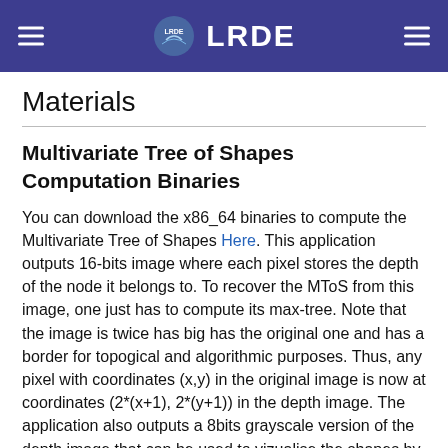LRDE
Materials
Multivariate Tree of Shapes Computation Binaries
You can download the x86_64 binaries to compute the Multivariate Tree of Shapes Here. This application outputs 16-bits image where each pixel stores the depth of the node it belongs to. To recover the MToS from this image, one just has to compute its max-tree. Note that the image is twice has big has the original one and has a border for topogical and algorithmic purposes. Thus, any pixel with coordinates (x,y) in the original image is now at coordinates (2*(x+1), 2*(y+1)) in the depth image. The application also outputs a 8bits grayscale version of the depth image that can be used to vizualise the shapes by thresholding this image.